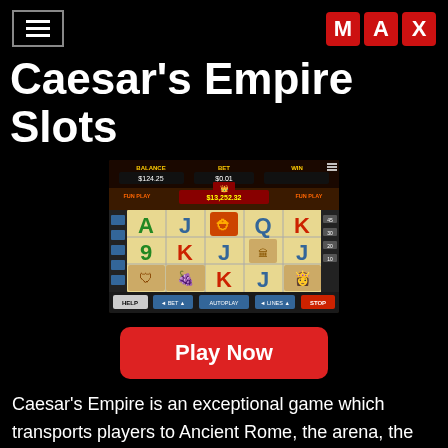≡  MAX
Caesar's Empire Slots
[Figure (screenshot): Screenshot of Caesar's Empire slot machine game showing reels with letters A, J, Q, K, 9 and Roman themed symbols. Balance: $124.25, Bet: $0.01, Win: $13,252.32. FUN PLAY mode active.]
Play Now
Caesar's Empire is an exceptional game which transports players to Ancient Rome, the arena, the excess and might of